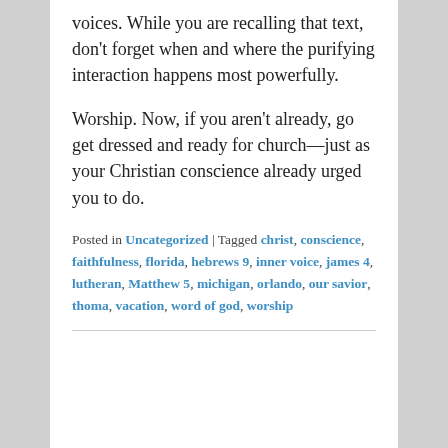voices. While you are recalling that text, don't forget when and where the purifying interaction happens most powerfully.
Worship. Now, if you aren't already, go get dressed and ready for church—just as your Christian conscience already urged you to do.
Posted in Uncategorized | Tagged christ, conscience, faithfulness, florida, hebrews 9, inner voice, james 4, lutheran, Matthew 5, michigan, orlando, our savior, thoma, vacation, word of god, worship